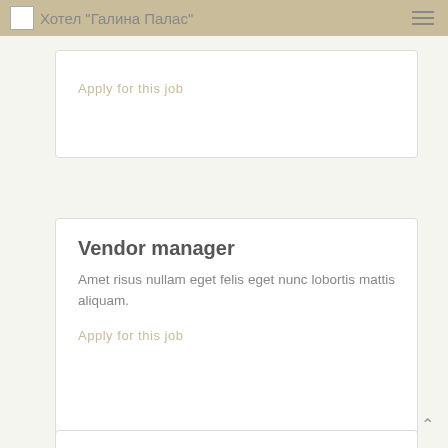Хотел "Галина Палас"
Apply for this job
Vendor manager
Amet risus nullam eget felis eget nunc lobortis mattis aliquam.
Apply for this job
Product owner
Suscipit adipiscing bibendum est ultricies. Est